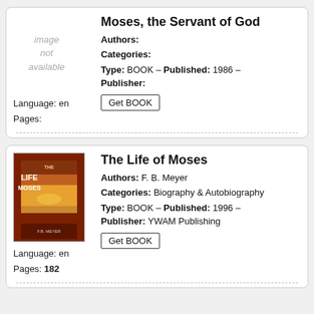Moses, the Servant of God
Authors:
Categories:
Type: BOOK – Published: 1986 –
Publisher:
Language: en
Pages:
The Life of Moses
Authors: F. B. Meyer
Categories: Biography & Autobiography
Type: BOOK – Published: 1996 –
Publisher: YWAM Publishing
Language: en
Pages: 182